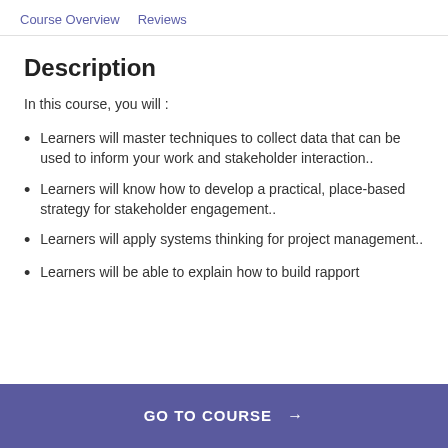Course Overview   Reviews
Description
In this course, you will :
Learners will master techniques to collect data that can be used to inform your work and stakeholder interaction..
Learners will know how to develop a practical, place-based strategy for stakeholder engagement..
Learners will apply systems thinking for project management..
Learners will be able to explain how to build rapport
GO TO COURSE →